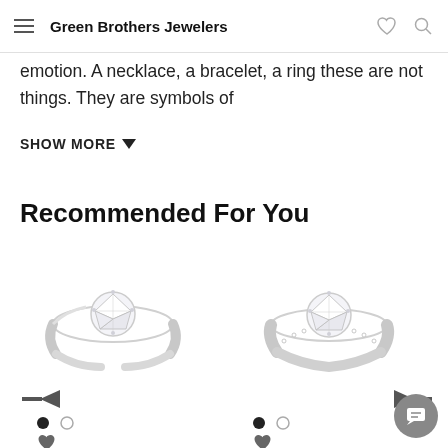Green Brothers Jewelers
emotion. A necklace, a bracelet, a ring these are not things. They are symbols of
SHOW MORE
Recommended For You
[Figure (photo): Diamond engagement ring with split shank band, white gold]
[Figure (photo): Diamond engagement ring with pavé band, white gold]